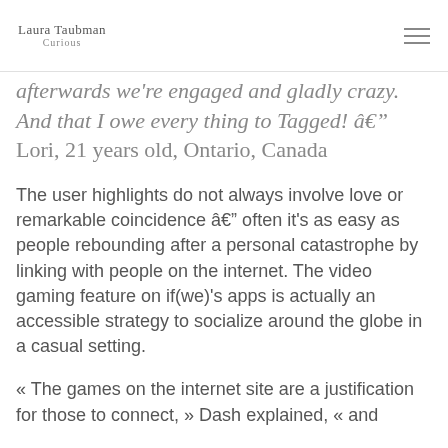Laura Taubman Curious
afterwards we're engaged and gladly crazy. And that I owe every thing to Tagged! â Lori, 21 years old, Ontario, Canada
The user highlights do not always involve love or remarkable coincidence â often it's as easy as people rebounding after a personal catastrophe by linking with people on the internet. The video gaming feature on if(we)'s apps is actually an accessible strategy to socialize around the globe in a casual setting.
« The games on the internet site are a justification for those to connect, » Dash explained, « and